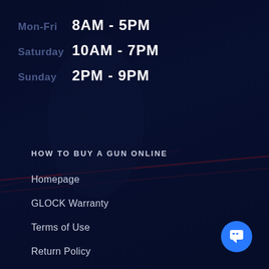Mon-Fri  8AM - 5PM
Saturday  10AM - 7PM
Sunday  2PM - 9PM
HOW TO BUY A GUN ONLINE
Homepage
GLOCK Warranty
Terms of Use
Return Policy